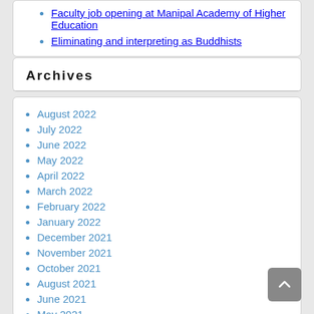Faculty job opening at Manipal Academy of Higher Education
Eliminating and interpreting as Buddhists
Archives
August 2022
July 2022
June 2022
May 2022
April 2022
March 2022
February 2022
January 2022
December 2021
November 2021
October 2021
August 2021
June 2021
May 2021
April 2021
March 2021